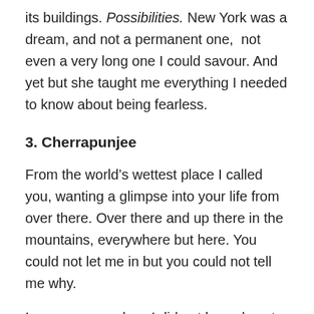its buildings. Possibilities. New York was a dream, and not a permanent one,  not even a very long one I could savour. And yet but she taught me everything I needed to know about being fearless.
3. Cherrapunjee
From the world’s wettest place I called you, wanting a glimpse into your life from over there. Over there and up there in the mountains, everywhere but here. You could not let me in but you could not tell me why.
In my younger days I did not know how to straddle my worlds. By day and for most of the year we were just college girls, in love with each